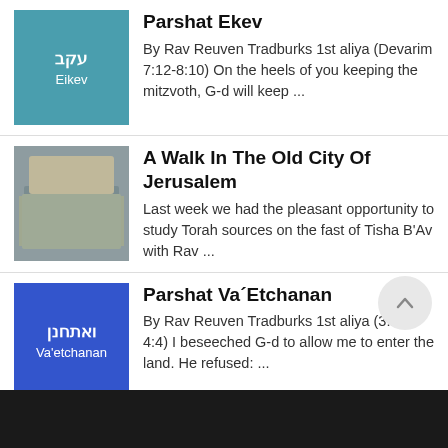Parshat Ekev
By Rav Reuven Tradburks 1st aliya (Devarim 7:12-8:10) On the heels of you keeping the mitzvoth, G-d will keep ...
A Walk In The Old City Of Jerusalem
Last week we had the pleasant opportunity to study Torah sources on the fast of Tisha B'Av with Rav ...
Parshat Va'Etchanan
By Rav Reuven Tradburks 1st aliya (3:23-4:4) I beseeched G-d to allow me to enter the land. He refused: ...